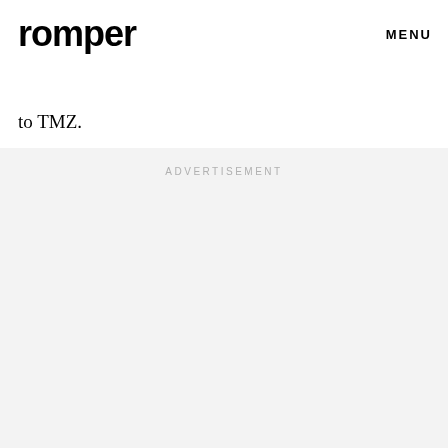romper   MENU
up to the pregnancy* and for three more weeks following embryo implantation, according to TMZ.
ADVERTISEMENT